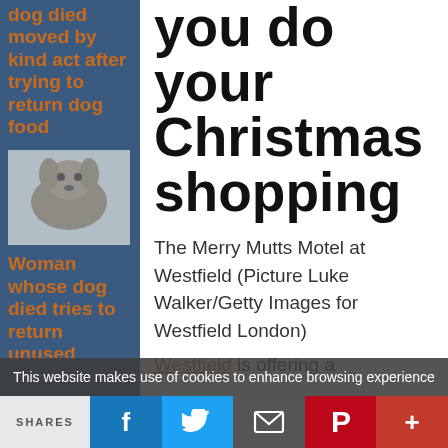dog died moved by kind act after trying to return dog food
[Figure (photo): A dog (appears to be a German Shorthaired Pointer) looking at camera]
Woman whose dog died tries to return unused
you do your Christmas shopping
The Merry Mutts Motel at Westfield (Picture Luke Walker/Getty Images for Westfield London)
Westfield is offering a
This website makes use of cookies to enhance browsing experience
SHARES